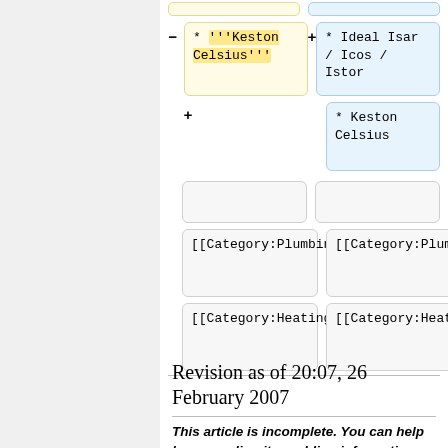[Figure (screenshot): Wikipedia diff view showing two columns of wiki markup changes. Left column (yellow, removed): '* '''Keston Celsius''''. Right column (blue, added): '* Ideal Isar / Icos / Istor' and '* Keston Celsius'. Below are category boxes: [[Category:Plumbing]] and [[Category:Heating]] in both columns.]
Revision as of 20:07, 26 February 2007
This article is incomplete. You can help by expanding it or adding information and suggestions on the